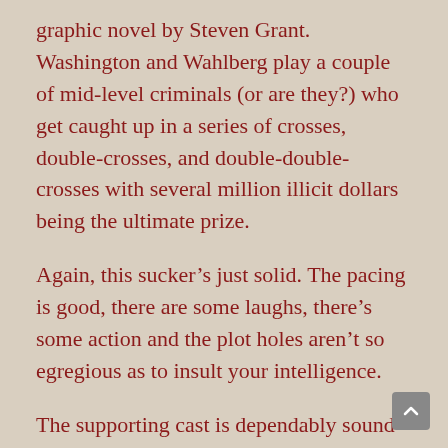graphic novel by Steven Grant. Washington and Wahlberg play a couple of mid-level criminals (or are they?) who get caught up in a series of crosses, double-crosses, and double-double-crosses with several million illicit dollars being the ultimate prize.
Again, this sucker's just solid. The pacing is good, there are some laughs, there's some action and the plot holes aren't so egregious as to insult your intelligence.
The supporting cast is dependably sound as well as Bill Paxton beefs up the smarm and his Texas accent to play the heavy, James Marsden and Fred Ward pop up as morally dubious Naval off...